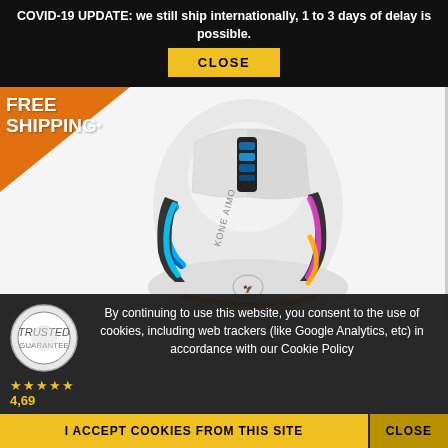COVID-19 UPDATE: we still ship internationally, 1 to 3 days of delay is possible.
CLOSE
[Figure (other): FREE SHIPPING* orange badge overlay on a ROCCAT Kone AIMO gaming mouse product photo. The white gaming mouse features RGB lighting accents in blue, pink, orange and yellow colors on its sides and scroll wheel area. The Kone AIMO branding is visible on the side. A trust badge/seal is partially visible in the lower left corner with a 4.69 star rating displayed below it.]
By continuing to use this website, you consent to the use of cookies, including web trackers (like Google Analytics, etc) in accordance with our Cookie Policy
I ACCEPT COOKIES FROM THIS SITE
CLOSE